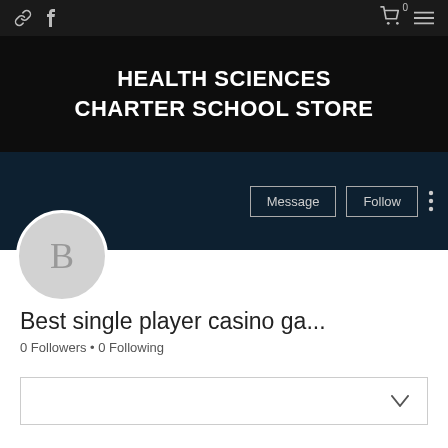[Figure (screenshot): Top navigation bar with link icon, Facebook icon on left, cart with 0 and hamburger menu on right, dark background]
HEALTH SCIENCES CHARTER SCHOOL STORE
[Figure (screenshot): Profile section with dark teal background showing Message and Follow buttons and three-dot menu, with circular avatar showing letter B]
Best single player casino ga...
0 Followers • 0 Following
[Figure (screenshot): Dropdown box with chevron/arrow pointing down]